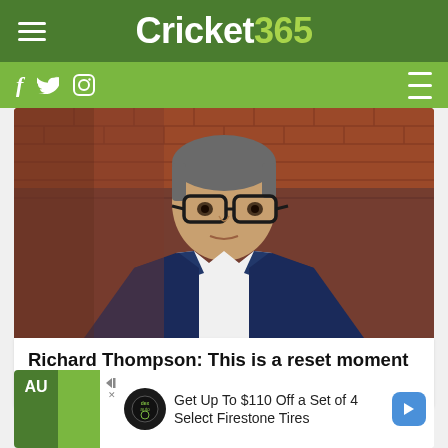Cricket 365
[Figure (screenshot): Cricket365 website screenshot showing social media icons (f, twitter, instagram) on green bar and hamburger menu on right]
[Figure (photo): Photo of Richard Thompson, a middle-aged man with glasses, wearing a dark blue suit and white shirt, standing in front of a red brick wall]
Richard Thompson: This is a reset moment for the ECB and wider game of cricket
[Figure (screenshot): Partial bottom card with AU label on dark green left border and yellow-green image area, overlaid with advertisement: Get Up To $110 Off a Set of 4 Select Firestone Tires]
Get Up To $110 Off a Set of 4 Select Firestone Tires